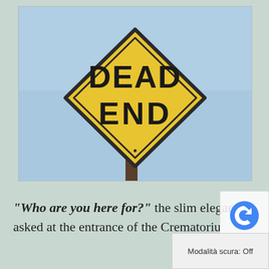[Figure (photo): Photograph of a yellow diamond-shaped 'DEAD END' road sign against a light blue sky, mounted on a dark brown post.]
“Who are you here for?” the slim elegant asked at the entrance of the Crematorium